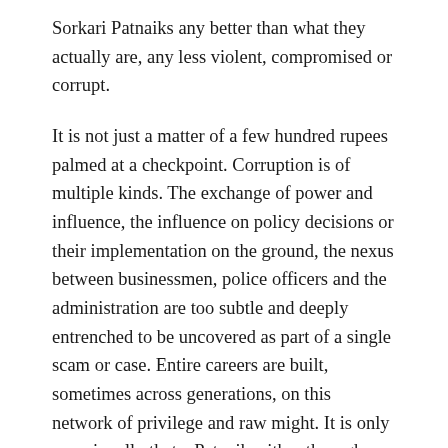Sorkari Patnaiks any better than what they actually are, any less violent, compromised or corrupt.
It is not just a matter of a few hundred rupees palmed at a checkpoint. Corruption is of multiple kinds. The exchange of power and influence, the influence on policy decisions or their implementation on the ground, the nexus between businessmen, police officers and the administration are too subtle and deeply entrenched to be uncovered as part of a single scam or case. Entire careers are built, sometimes across generations, on this network of privilege and raw might. It is only occasionally that a Patnaik, either through hubris or predictability, may stumble and fall. Mostly, they continue, much as the other organs of the state endure. And people like Korok and the other residents of countless Deogans manage to continue with their existence knowing the true extent of their powerlessness.
Occasionally, a Patnaik's weaknesses might snap this chain of